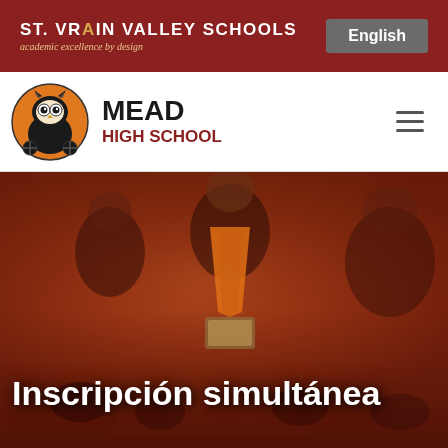ST. VRAIN VALLEY SCHOOLS academic excellence by design | English
[Figure (logo): Mead High School logo with mascot owl/bison and school name]
Inscripción simultánea
[Figure (photo): Graduation ceremony photo showing students in black gowns with orange stoles, one student smiling and holding diploma]